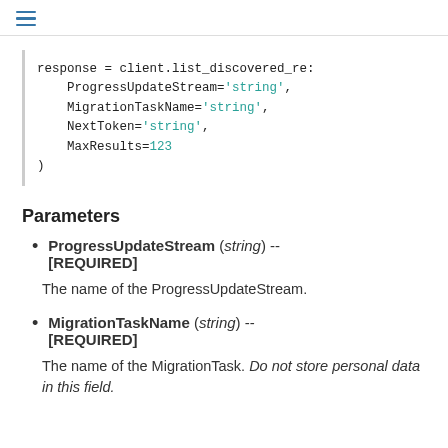☰
response = client.list_discovered_re:
    ProgressUpdateStream='string',
    MigrationTaskName='string',
    NextToken='string',
    MaxResults=123
)
Parameters
ProgressUpdateStream (string) -- [REQUIRED]
The name of the ProgressUpdateStream.
MigrationTaskName (string) -- [REQUIRED]
The name of the MigrationTask. Do not store personal data in this field.